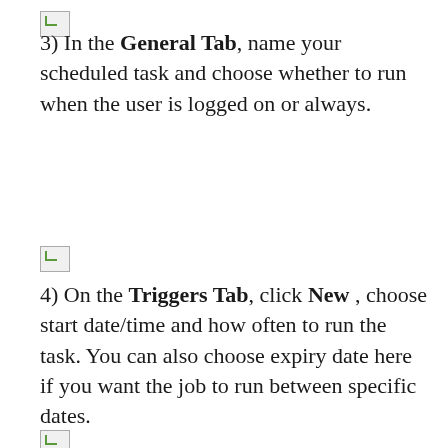[Figure (other): Small broken/placeholder image icon at top of page]
3) In the General Tab, name your scheduled task and choose whether to run when the user is logged on or always.
[Figure (other): Small broken/placeholder image icon between items]
4) On the Triggers Tab, click New , choose start date/time and how often to run the task. You can also choose expiry date here if you want the job to run between specific dates.
[Figure (other): Small broken/placeholder image icon at bottom of page]